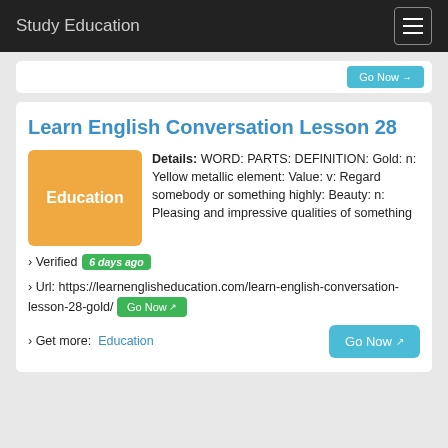Study Education
Learn English Conversation Lesson 28
Details: WORD: PARTS: DEFINITION: Gold: n: Yellow metallic element: Value: v: Regard somebody or something highly: Beauty: n: Pleasing and impressive qualities of something
› Verified 6 days ago
› Url: https://learnenglisheducation.com/learn-english-conversation-lesson-28-gold/
› Get more: Education